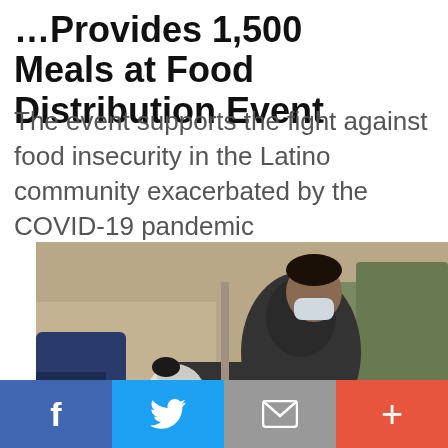…Provides 1,500 Meals at Food Distribution Event
The event supports the fight against food insecurity in the Latino community exacerbated by the COVID-19 pandemic
[Figure (photo): A masked man wearing a gray hoodie and gloves hands plastic bags of food to a car at a drive-through food distribution event. Trees and a building are visible in the background.]
Social share buttons: Facebook, Twitter, Email, More